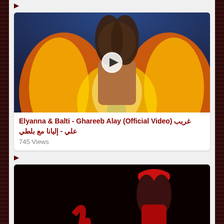[Figure (screenshot): Video thumbnail: woman with fire background, play button overlay]
Elyanna & Balti - Ghareeb Alay (Official Video) غريب علي - إليانا مع بلطي
745 Views
[Figure (screenshot): Video thumbnail: woman in red outfit on dark background]